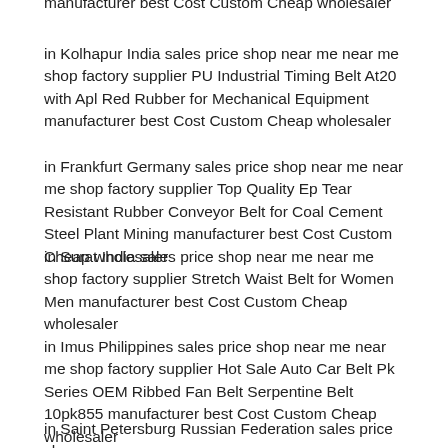in Kolhapur India sales price shop near me near me shop factory supplier PU Industrial Timing Belt At20 with Apl Red Rubber for Mechanical Equipment manufacturer best Cost Custom Cheap wholesaler
in Frankfurt Germany sales price shop near me near me shop factory supplier Top Quality Ep Tear Resistant Rubber Conveyor Belt for Coal Cement Steel Plant Mining manufacturer best Cost Custom Cheap wholesaler
in Surat India sales price shop near me near me shop factory supplier Stretch Waist Belt for Women Men manufacturer best Cost Custom Cheap wholesaler
in Imus Philippines sales price shop near me near me shop factory supplier Hot Sale Auto Car Belt Pk Series OEM Ribbed Fan Belt Serpentine Belt 10pk855 manufacturer best Cost Custom Cheap wholesaler
in Saint Petersburg Russian Federation sales price shop